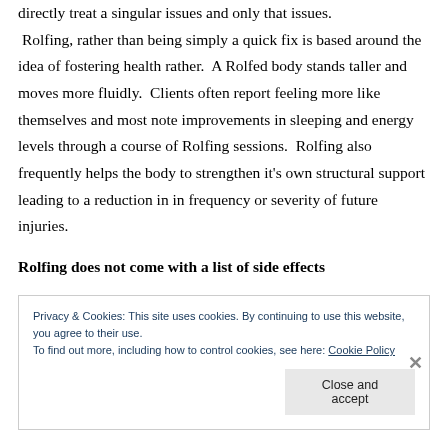directly treat a singular issues and only that issues. Rolfing, rather than being simply a quick fix is based around the idea of fostering health rather. A Rolfed body stands taller and moves more fluidly. Clients often report feeling more like themselves and most note improvements in sleeping and energy levels through a course of Rolfing sessions. Rolfing also frequently helps the body to strengthen it's own structural support leading to a reduction in in frequency or severity of future injuries.
Rolfing does not come with a list of side effects
Privacy & Cookies: This site uses cookies. By continuing to use this website, you agree to their use.
To find out more, including how to control cookies, see here: Cookie Policy